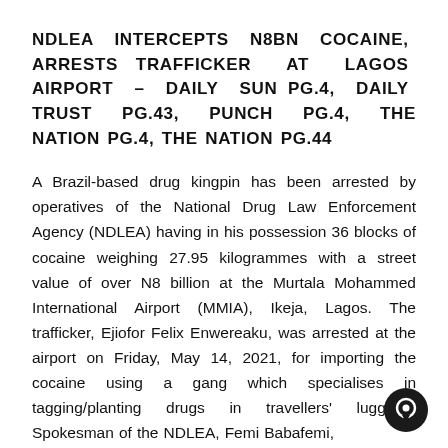NDLEA INTERCEPTS N8BN COCAINE, ARRESTS TRAFFICKER AT LAGOS AIRPORT – DAILY SUN PG.4, DAILY TRUST PG.43, PUNCH PG.4, THE NATION PG.4, THE NATION PG.44
A Brazil-based drug kingpin has been arrested by operatives of the National Drug Law Enforcement Agency (NDLEA) having in his possession 36 blocks of cocaine weighing 27.95 kilogrammes with a street value of over N8 billion at the Murtala Mohammed International Airport (MMIA), Ikeja, Lagos. The trafficker, Ejiofor Felix Enwereaku, was arrested at the airport on Friday, May 14, 2021, for importing the cocaine using a gang which specialises in tagging/planting drugs in travellers' luggage. Spokesman of the NDLEA, Femi Babafemi,